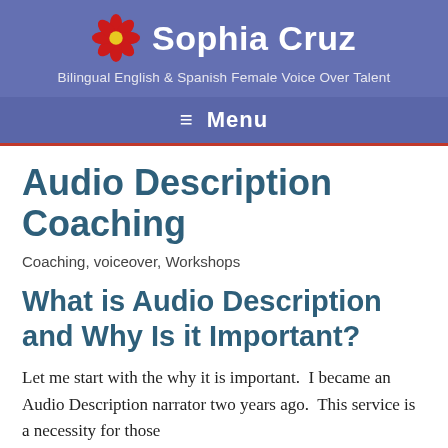Sophia Cruz — Bilingual English & Spanish Female Voice Over Talent
Audio Description Coaching
Coaching, voiceover, Workshops
What is Audio Description and Why Is it Important?
Let me start with the why it is important.  I became an Audio Description narrator two years ago.  This service is a necessity for those